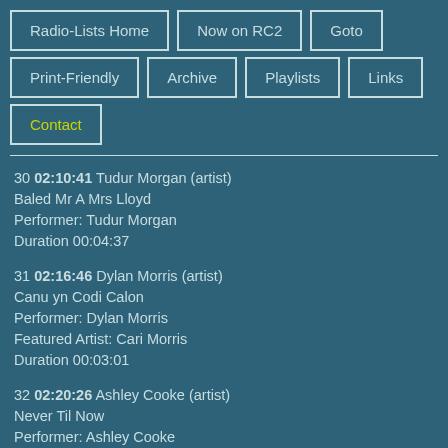Radio-Lists Home
Now on RC2
Goto
Print-Friendly
Archive
Playlists
Links
Contact
30 02:10:41 Tudur Morgan (artist)
Baled Mr A Mrs Lloyd
Performer: Tudur Morgan
Duration 00:04:37
31 02:16:46 Dylan Morris (artist)
Canu yn Codi Calon
Performer: Dylan Morris
Featured Artist: Cari Morris
Duration 00:03:01
32 02:20:26 Ashley Cooke (artist)
Never Til Now
Performer: Ashley Cooke
Performer: Brett Young